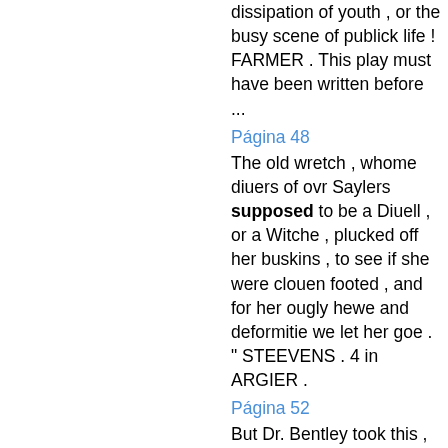dissipation of youth , or the busy scene of publick life ! FARMER . This play must have been written before ...
Página 48
The old wretch , whome diuers of ovr Saylers supposed to be a Diuell , or a Witche , plucked off her buskins , to see if she were clouen footed , and for her ougly hewe and deformitie we let her goe . " STEEVENS . 4 in ARGIER .
Página 52
But Dr. Bentley took this , of a new language , literally ; for , speaking of a phrase in Milton , which he supposed altogether absurd and unmeaning , he says . "